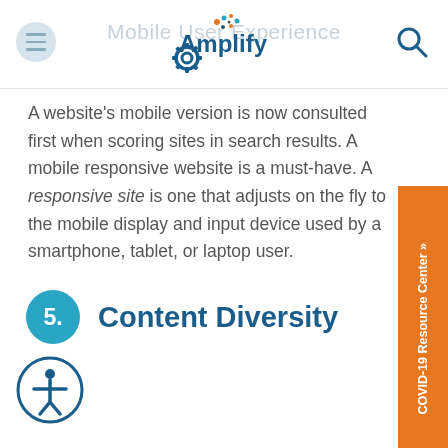Mobile User Experience — Amplify logo
A website's mobile version is now consulted first when scoring sites in search results. A mobile responsive website is a must-have. A responsive site is one that adjusts on the fly to the mobile display and input device used by a smartphone, tablet, or laptop user.
5. Content Diversity